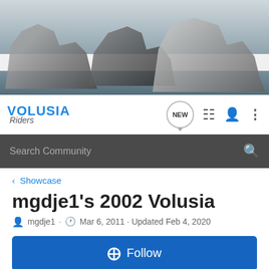[Figure (photo): Banner image showing multiple motorcycles (Suzuki Volusia/Boulevard cruisers) on a road with a sky background]
[Figure (screenshot): Volusia Riders website navigation bar with logo, NEW chat bubble, list icon, user icon, and more menu icon]
Search Community
< Showcase
mgdje1's 2002 Volusia
mgdje1 · Mar 6, 2011 · Updated Feb 4, 2020
+ Follow
General Information